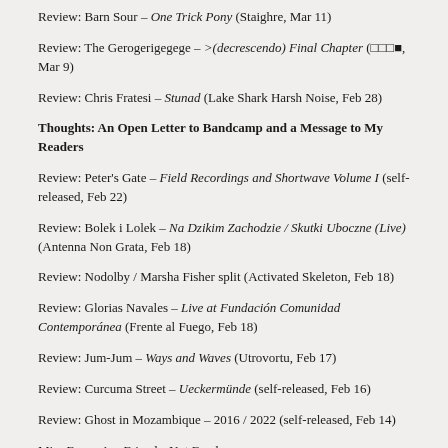Review: Barn Sour – One Trick Pony (Staighre, Mar 11)
Review: The Gerogerigegege – >(decrescendo) Final Chapter (□□□■, Mar 9)
Review: Chris Fratesi – Stunad (Lake Shark Harsh Noise, Feb 28)
Thoughts: An Open Letter to Bandcamp and a Message to My Readers
Review: Peter's Gate – Field Recordings and Shortwave Volume I (self-released, Feb 22)
Review: Bolek i Lolek – Na Dzikim Zachodzie / Skutki Uboczne (Live) (Antenna Non Grata, Feb 18)
Review: Nodolby / Marsha Fisher split (Activated Skeleton, Feb 18)
Review: Glorias Navales – Live at Fundación Comunidad Contemporánea (Frente al Fuego, Feb 18)
Review: Jum-Jum – Ways and Waves (Utrovortu, Feb 17)
Review: Curcuma Street – Ueckermünde (self-released, Feb 16)
Review: Ghost in Mozambique – 2016 / 2022 (self-released, Feb 14)
Mix: Fauna Are Friends, Not Food
Review: Suitcase Body – Star Bloom (Broken Tape, Feb 12)
Review: Rene Kita – Fraught Mackerel (self-released, Feb 12)
Review: crcfd – danceableas (The Absorption Directory, Feb 9)
Review: Michael Wall – Four Walls Falling (self-released, Feb 9)